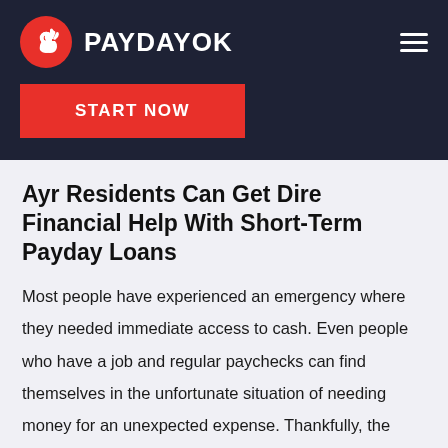[Figure (logo): PaydayOK logo: red circle with white OK hand gesture icon, followed by white bold text PAYDAYOK on dark navy background]
START NOW
Ayr Residents Can Get Dire Financial Help With Short-Term Payday Loans
Most people have experienced an emergency where they needed immediate access to cash. Even people who have a job and regular paychecks can find themselves in the unfortunate situation of needing money for an unexpected expense. Thankfully, the payday loan industry exists to help individuals out when they need it most with payday loans.